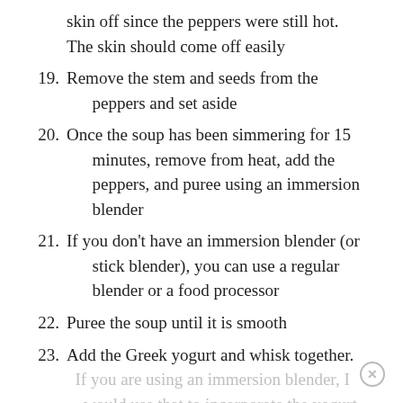skin off since the peppers were still hot. The skin should come off easily
19. Remove the stem and seeds from the peppers and set aside
20. Once the soup has been simmering for 15 minutes, remove from heat, add the peppers, and puree using an immersion blender
21. If you don’t have an immersion blender (or stick blender), you can use a regular blender or a food processor
22. Puree the soup until it is smooth
23. Add the Greek yogurt and whisk together. If you are using an immersion blender, I would use that to incorporate the yogurt